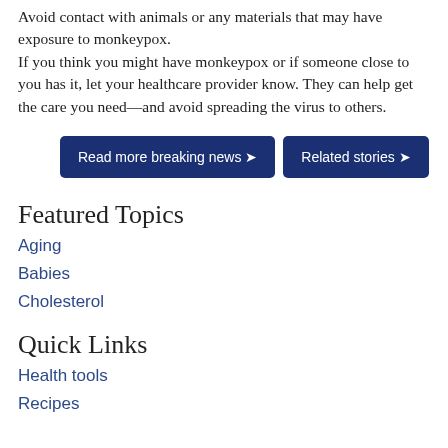Avoid contact with animals or any materials that may have exposure to monkeypox. If you think you might have monkeypox or if someone close to you has it, let your healthcare provider know. They can help get the care you need—and avoid spreading the virus to others.
Read more breaking news ➤   Related stories ➤
Featured Topics
Aging
Babies
Cholesterol
Quick Links
Health tools
Recipes